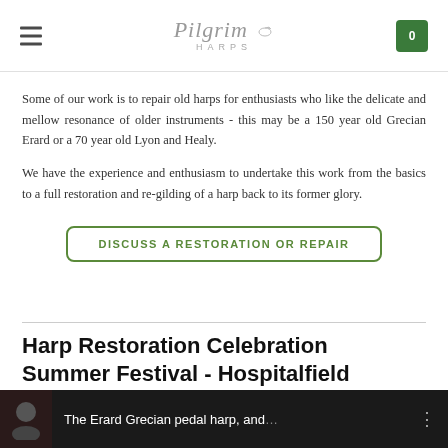Pilgrim Harps
Some of our work is to repair old harps for enthusiasts who like the delicate and mellow resonance of older instruments - this may be a 150 year old Grecian Erard or a 70 year old Lyon and Healy.
We have the experience and enthusiasm to undertake this work from the basics to a full restoration and re-gilding of a harp back to its former glory.
DISCUSS A RESTORATION OR REPAIR
Harp Restoration Celebration Summer Festival - Hospitalfield
[Figure (screenshot): Video thumbnail showing a dark background with a silhouette of a person on the left and text reading 'The Erard Grecian pedal harp, and...' with a three-dot menu icon on the right.]